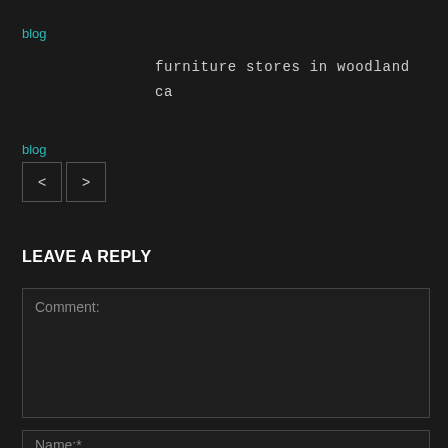blog
furniture stores in woodland ca
blog
[Figure (other): Navigation buttons: left arrow < and right arrow > in bordered boxes]
LEAVE A REPLY
Comment:
Name:*